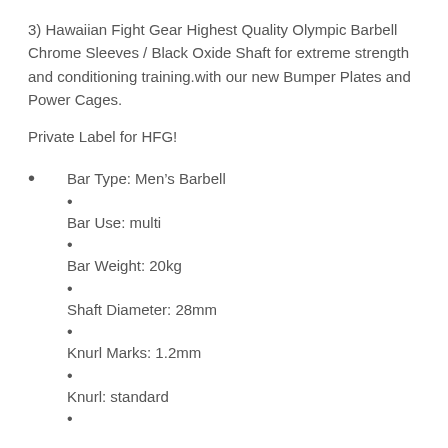3) Hawaiian Fight Gear Highest Quality Olympic Barbell Chrome Sleeves / Black Oxide Shaft for extreme strength and conditioning training.with our new Bumper Plates and Power Cages.
Private Label for HFG!
Bar Type: Men’s Barbell
Bar Use: multi
Bar Weight: 20kg
Shaft Diameter: 28mm
Knurl Marks: 1.2mm
Knurl: standard